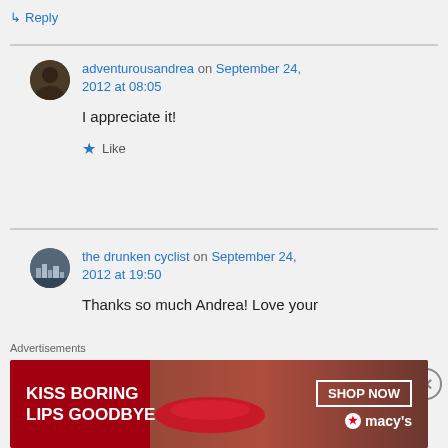↳ Reply
adventurousandrea on September 24, 2012 at 08:05
I appreciate it!
Like
the drunken cyclist on September 24, 2012 at 19:50
Thanks so much Andrea! Love your
Advertisements
[Figure (infographic): Macy's advertisement banner: 'KISS BORING LIPS GOODBYE' with a woman's face showing red lips, SHOP NOW button, and Macy's star logo on a red background]